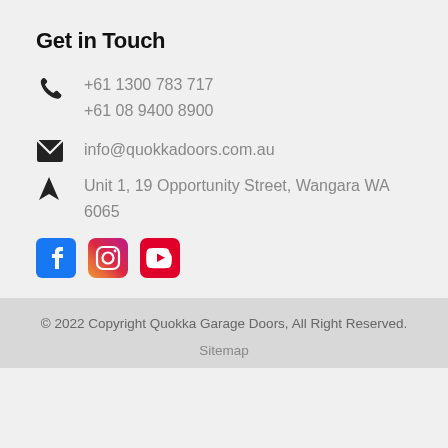Get in Touch
+61 1300 783 717
+61 08 9400 8900
info@quokkadoors.com.au
Unit 1, 19 Opportunity Street, Wangara WA 6065
[Figure (logo): Social media icons: Facebook, Instagram, YouTube]
© 2022 Copyright Quokka Garage Doors, All Right Reserved.
Sitemap